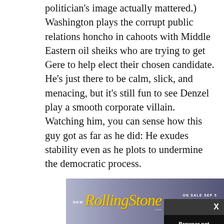politician's image actually mattered.) Washington plays the corrupt public relations honcho in cahoots with Middle Eastern oil sheiks who are trying to get Gere to help elect their chosen candidate. He's just there to be calm, slick, and menacing, but it's still fun to see Denzel play a smooth corporate villain. Watching him, you can sense how this guy got as far as he did: He exudes stability even as he plots to undermine the democratic process.
[Figure (screenshot): Browser not compatible modal dialog overlay with dark background, showing title 'Browser not compatible', subtitle 'You may need to update your browser', and a report ID link 'Report ID: 1gb0j8tpb620hriml5g'. Has a close X button in the top right corner.]
[Figure (screenshot): Rolling Stone magazine advertisement banner. Shows 'NEW' text on left, Rolling Stone logo in yellow italic script, 'ON SALE SEP 5' and a red SUBSCRIBE button on the right. Gradient purple/grey background.]